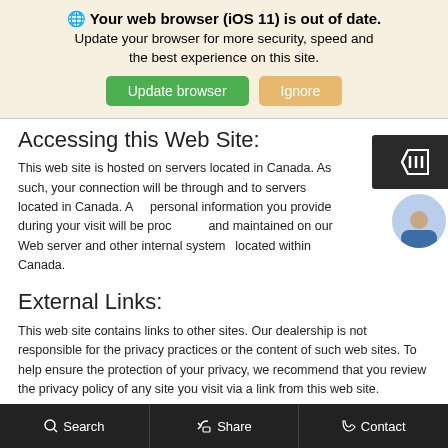🌐 Your web browser (iOS 11) is out of date. Update your browser for more security, speed and the best experience on this site.
Update browser   Ignore
Accessing this Web Site:
This web site is hosted on servers located in Canada. As such, your connection will be through and to servers located in Canada. Any personal information you provide during your visit will be processed and maintained on our Web server and other internal systems located within Canada.
External Links:
This web site contains links to other sites. Our dealership is not responsible for the privacy practices or the content of such web sites. To help ensure the protection of your privacy, we recommend that you review the privacy policy of any site you visit via a link from this web site.
Search   Share   Contact